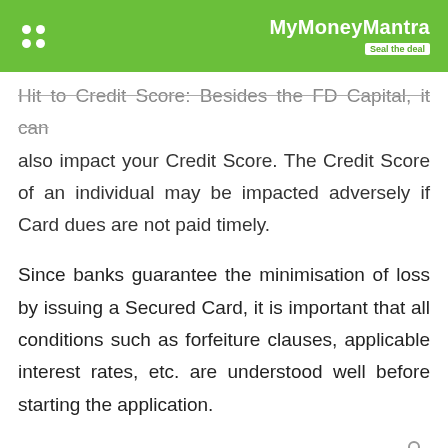MyMoneyMantra — Seal the deal
Hit to Credit Score: Besides the FD Capital, it can also impact your Credit Score. The Credit Score of an individual may be impacted adversely if Card dues are not paid timely.
Since banks guarantee the minimisation of loss by issuing a Secured Card, it is important that all conditions such as forfeiture clauses, applicable interest rates, etc. are understood well before starting the application.
Also Read:
5 Tips to Build Your Credit Score by Using Your